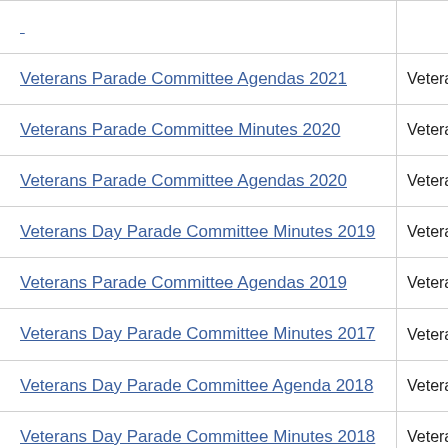| Name | Category |
| --- | --- |
| Veterans Parade Committee Agendas 2021 | Veteran |
| Veterans Parade Committee Minutes 2020 | Veteran |
| Veterans Parade Committee Agendas 2020 | Veteran |
| Veterans Day Parade Committee Minutes 2019 | Veteran |
| Veterans Parade Committee Agendas 2019 | Veteran |
| Veterans Day Parade Committee Minutes 2017 | Veteran |
| Veterans Day Parade Committee Agenda 2018 | Veteran |
| Veterans Day Parade Committee Minutes 2018 | Veteran |